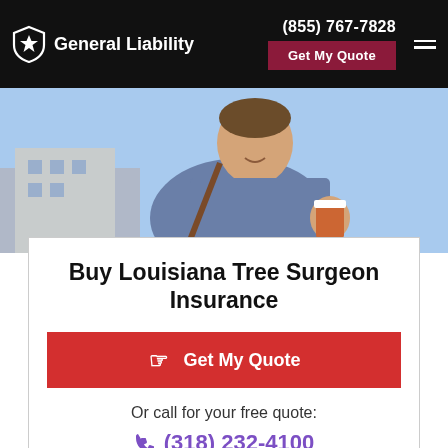General Liability | (855) 767-7828 | Get My Quote
[Figure (photo): Man in blue jacket holding a coffee cup, smiling, with a building and blue sky in the background]
Buy Louisiana Tree Surgeon Insurance
Get My Quote
Or call for your free quote:
(318) 232-4100